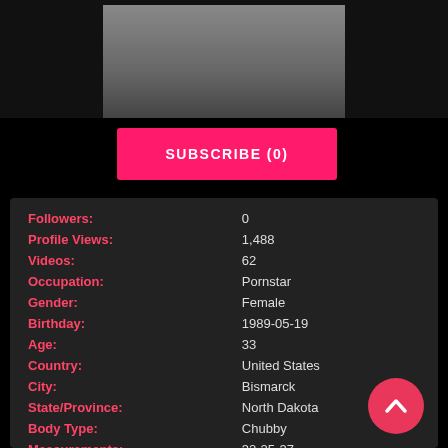[Figure (photo): Partial photo of a person at the top of the page, cropped, with a white cabinet background]
SUBSCRIBE (0)
| Followers: | 0 |
| Profile Views: | 1,488 |
| Videos: | 62 |
| Occupation: | Pornstar |
| Gender: | Female |
| Birthday: | 1989-05-19 |
| Age: | 33 |
| Country: | United States |
| City: | Bismarck |
| State/Province: | North Dakota |
| Body Type: | Chubby |
| Measurements: | 32-25-37 |